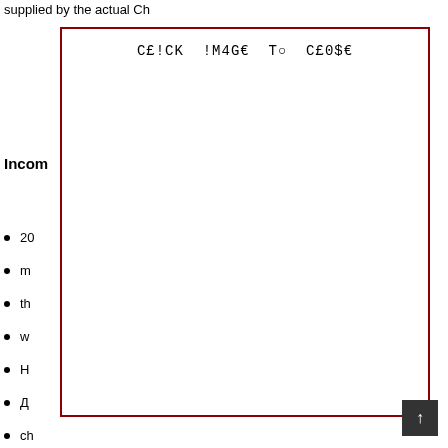supplied by the actual Ch
[Figure (screenshot): Overlay box with text 'CE!CK !M4GE TO CE0$E' in monospace font, bordered with dark red rectangle]
Incom
20
m
th
w
H
Д
ch
20
20
H